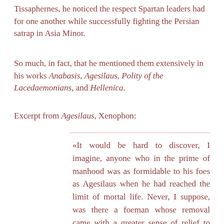Tissaphernes, he noticed the respect Spartan leaders had for one another while successfully fighting the Persian satrap in Asia Minor.
So much, in fact, that he mentioned them extensively in his works Anabasis, Agesilaus, Polity of the Lacedaemonians, and Hellenica.
Excerpt from Agesilaus, Xenophon:
«It would be hard to discover, I imagine, anyone who in the prime of manhood was as formidable to his foes as Agesilaus when he had reached the limit of mortal life. Never, I suppose, was there a foeman whose removal came with a greater sense of relief to the enemy than that of Agesilaus.